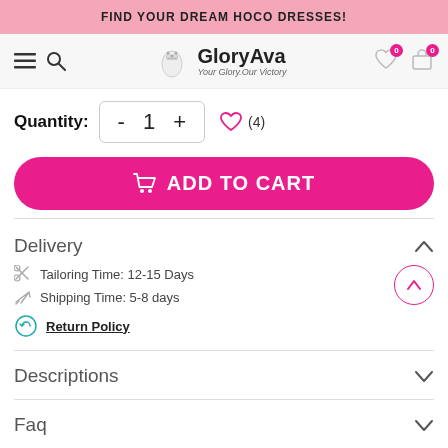FIND YOUR DREAM HOCO DRESSES!
[Figure (screenshot): GloryAva website navigation bar with hamburger menu, search icon, logo, heart wishlist icon (0), and cart icon (0)]
Quantity: - 1 + ♡ (4)
ADD TO CART
Delivery
✂ Tailoring Time: 12-15 Days
✈ Shipping Time: 5-8 days
Return Policy
Descriptions
Faq